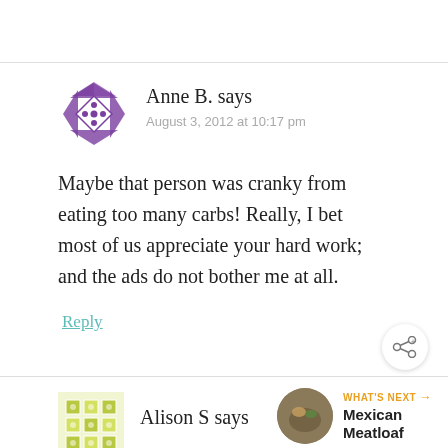Anne B. says
August 3, 2012 at 10:17 pm
Maybe that person was cranky from eating too many carbs! Really, I bet most of us appreciate your hard work; and the ads do not bother me at all.
Reply
Mexican Meatloaf
Alison S says